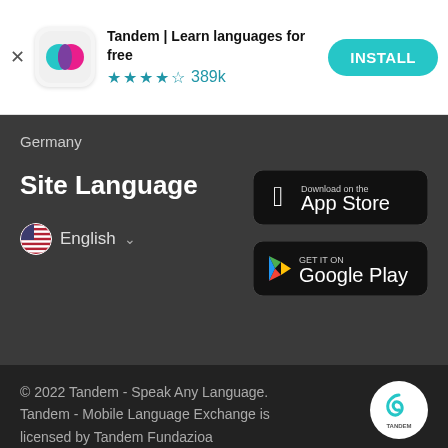[Figure (screenshot): App install banner: Tandem | Learn languages for free app icon with overlapping teal and pink circles on white rounded square background, 4.5 star rating, 389k reviews, teal INSTALL button]
Germany
Site Language
English
[Figure (logo): Download on the App Store button - black rounded rectangle with Apple logo]
[Figure (logo): GET IT ON Google Play button - black rounded rectangle with Google Play triangle logo]
© 2022 Tandem - Speak Any Language. Tandem - Mobile Language Exchange is licensed by Tandem Fundazioa
[Figure (logo): Tandem circular logo with spiral/infinity symbol on white circle background]